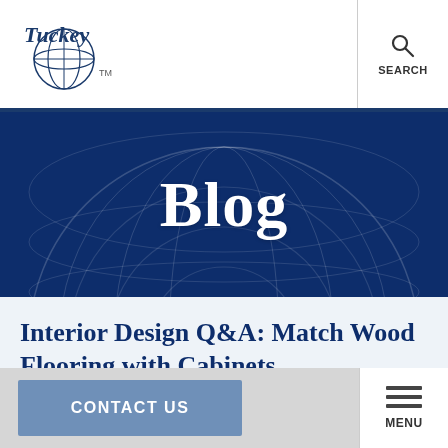Tuckey TM — Search
[Figure (illustration): Blue hero banner with globe watermark and 'Blog' text in white serif font]
Interior Design Q&A: Match Wood Flooring with Cabinets
August 20, 2013 | 8:39 pm
CONTACT US | MENU